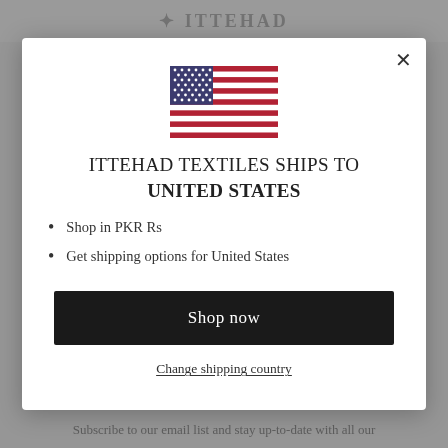[Figure (screenshot): Background of website with dimmed header showing ITTEHAD logo and footer text partially visible]
[Figure (illustration): United States flag SVG illustration]
ITTEHAD TEXTILES SHIPS TO UNITED STATES
Shop in PKR Rs
Get shipping options for United States
Shop now
Change shipping country
Subscribe to our email list and stay up-to-date with all our